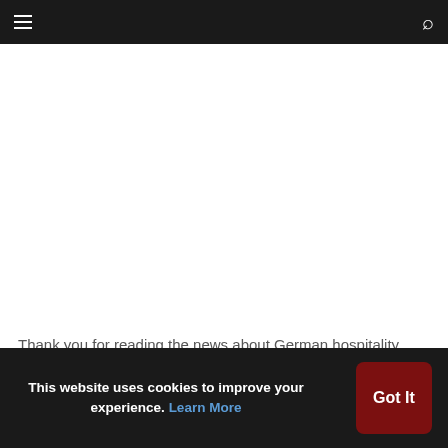≡  [search icon]
[Figure (other): Large white blank content area, likely an advertisement or image placeholder]
Thank you for reading the news about German hospitality brand adds a touch of ultra-luxury to MENA and now with the
This website uses cookies to improve your experience. Learn More  [Got It button]